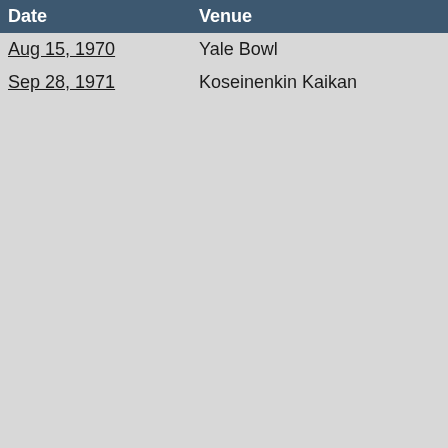| Date | Venue | City | Mode |
| --- | --- | --- | --- |
| Aug 15, 1970 | Yale Bowl | New Haven, CT | In Me… |
| Sep 28, 1971 | Koseinenkin Kaikan | Osaka | Encor… |